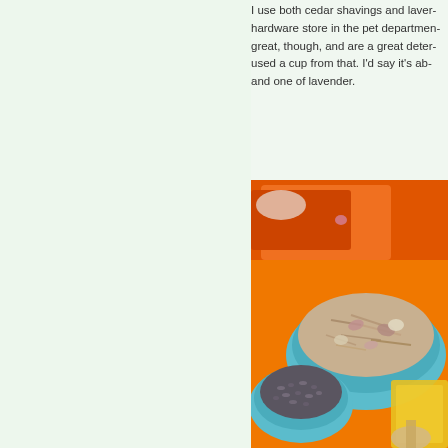I use both cedar shavings and lavender. You can find cedar shavings at a hardware store in the pet department. Lavender can be used dried. Both smell great, though, and are a great deterrent for moths. I had dried lavender and used a cup from that. I'd say it's about two cups of cedar shavings and one of lavender.
[Figure (photo): Photo of two bowls, one teal/blue bowl containing cedar shavings (light colored wood chips) and another smaller teal bowl containing lavender (dark dried herbs), placed on an orange surface with orange items in the background.]